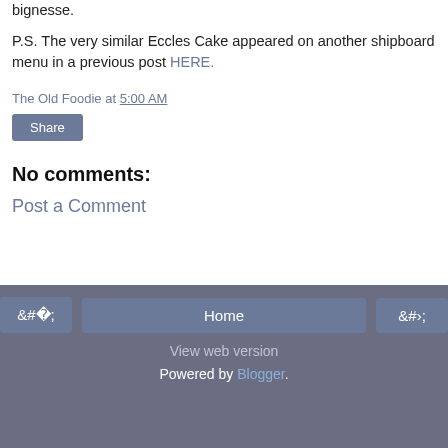bignesse.
P.S. The very similar Eccles Cake appeared on another shipboard menu in a previous post HERE.
The Old Foodie at 5:00 AM
Share
No comments:
Post a Comment
‹  Home  ›  View web version  Powered by Blogger.